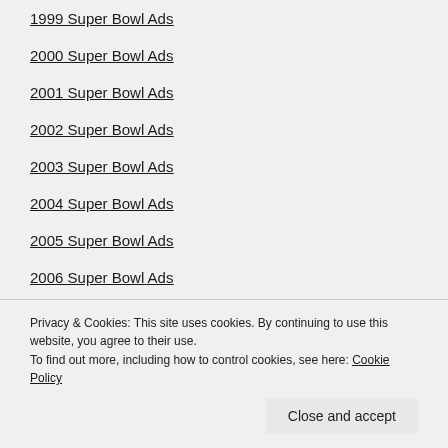1999 Super Bowl Ads
2000 Super Bowl Ads
2001 Super Bowl Ads
2002 Super Bowl Ads
2003 Super Bowl Ads
2004 Super Bowl Ads
2005 Super Bowl Ads
2006 Super Bowl Ads
2007 Super Bowl Ads
Privacy & Cookies: This site uses cookies. By continuing to use this website, you agree to their use.
To find out more, including how to control cookies, see here: Cookie Policy
Close and accept